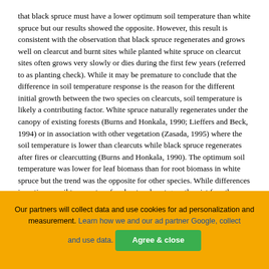that black spruce must have a lower optimum soil temperature than white spruce but our results showed the opposite. However, this result is consistent with the observation that black spruce regenerates and grows well on clearcut and burnt sites while planted white spruce on clearcut sites often grows very slowly or dies during the first few years (referred to as planting check). While it may be premature to conclude that the difference in soil temperature response is the reason for the different initial growth between the two species on clearcuts, soil temperature is likely a contributing factor. White spruce naturally regenerates under the canopy of existing forests (Burns and Honkala, 1990; Lieffers and Beck, 1994) or in association with other vegetation (Zasada, 1995) where the soil temperature is lower than clearcuts while black spruce regenerates after fires or clearcutting (Burns and Honkala, 1990). The optimum soil temperature was lower for leaf biomass than for root biomass in white spruce but the trend was the opposite for other species. While differences in optimum soil temperature for shoot and root growth exist for other tree species, the values are generally higher for shoot
Our partners will collect data and use cookies for ad personalization and measurement. Learn how we and our ad partner Google, collect and use data.